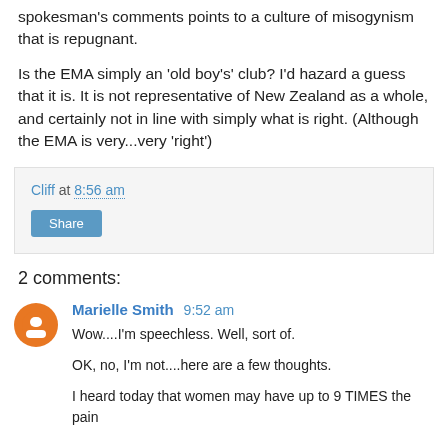spokesman's comments points to a culture of misogynism that is repugnant.
Is the EMA simply an 'old boy's' club? I'd hazard a guess that it is. It is not representative of New Zealand as a whole, and certainly not in line with simply what is right. (Although the EMA is very...very 'right')
Cliff at 8:56 am
Share
2 comments:
Marielle Smith 9:52 am
Wow....I'm speechless. Well, sort of.

OK, no, I'm not....here are a few thoughts.

I heard today that women may have up to 9 TIMES the pain